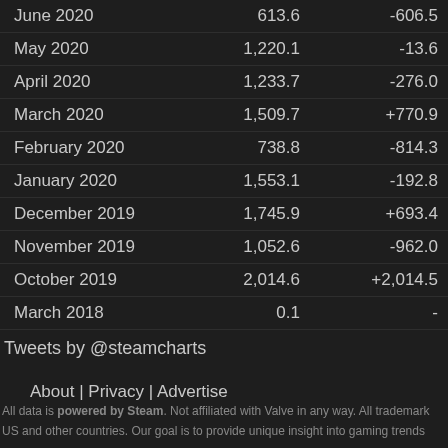| Month | Players | Change |
| --- | --- | --- |
| June 2020 | 613.6 | -606.5 |
| May 2020 | 1,220.1 | -13.6 |
| April 2020 | 1,233.7 | -276.0 |
| March 2020 | 1,509.7 | +770.9 |
| February 2020 | 738.8 | -814.3 |
| January 2020 | 1,553.1 | -192.8 |
| December 2019 | 1,745.9 | +693.4 |
| November 2019 | 1,052.6 | -962.0 |
| October 2019 | 2,014.6 | +2,014.5 |
| March 2018 | 0.1 | - |
Tweets by @steamcharts
About | Privacy | Advertise
All data is powered by Steam. Not affiliated with Valve in any way. All trademark
US and other countries. Our goal is to provide unique insight into gaming trends